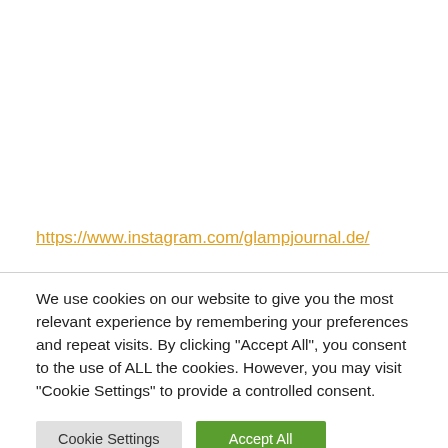https://www.instagram.com/glampjournal.de/
We use cookies on our website to give you the most relevant experience by remembering your preferences and repeat visits. By clicking "Accept All", you consent to the use of ALL the cookies. However, you may visit "Cookie Settings" to provide a controlled consent.
Cookie Settings | Accept All